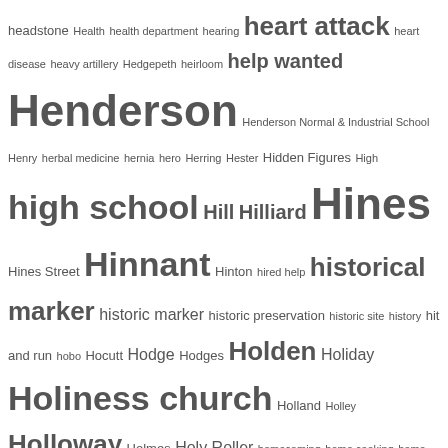[Figure (other): Word cloud / tag cloud featuring historical index terms starting with 'H', with words sized by frequency/importance. Largest words include Henderson, Hines, Hinnant, high school, historical marker, Holiness church, Holloway, homicide, hoodoo, Hooker, Horne horse, Howard, Howard University, house fire, Howell.]